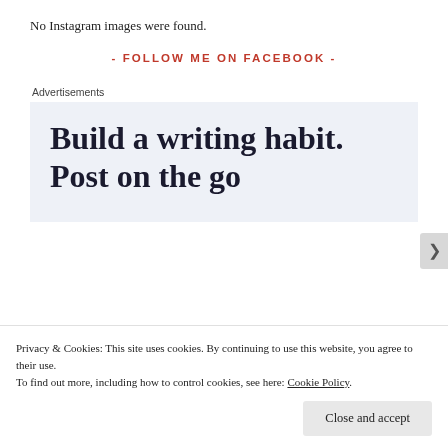No Instagram images were found.
- FOLLOW ME ON FACEBOOK -
Advertisements
[Figure (other): Advertisement banner with light blue background showing text: 'Build a writing habit. Post on the go']
Privacy & Cookies: This site uses cookies. By continuing to use this website, you agree to their use.
To find out more, including how to control cookies, see here: Cookie Policy
Close and accept